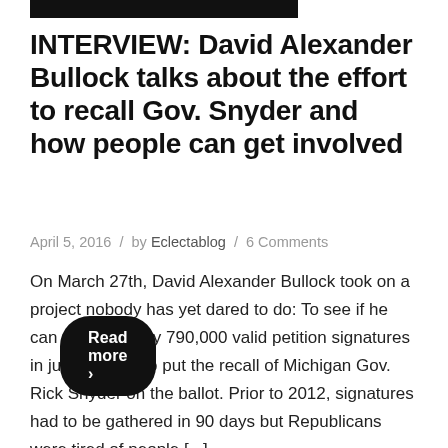INTERVIEW: David Alexander Bullock talks about the effort to recall Gov. Snyder and how people can get involved
April 5, 2016 / by Eclectablog / 6 Comments
On March 27th, David Alexander Bullock took on a project nobody has yet dared to do: To see if he can collect nearly 790,000 valid petition signatures in just 60 days to put the recall of Michigan Gov. Rick Snyder on the ballot. Prior to 2012, signatures had to be gathered in 90 days but Republicans were tired of people [...]
Read more ›